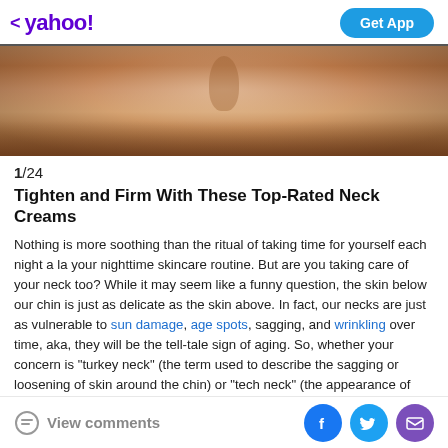< yahoo!  Get App
[Figure (photo): Close-up photo of a person's neck and upper chest area, showing bare skin with warm brown tones]
1/24
Tighten and Firm With These Top-Rated Neck Creams
Nothing is more soothing than the ritual of taking time for yourself each night a la your nighttime skincare routine. But are you taking care of your neck too? While it may seem like a funny question, the skin below our chin is just as delicate as the skin above. In fact, our necks are just as vulnerable to sun damage, age spots, sagging, and wrinkling over time, aka, they will be the tell-tale sign of aging. So, whether your concern is "turkey neck" (the term used to describe the sagging or loosening of skin around the chin) or "tech neck" (the appearance of fine lines and wrinkles resulting from constantly
View comments